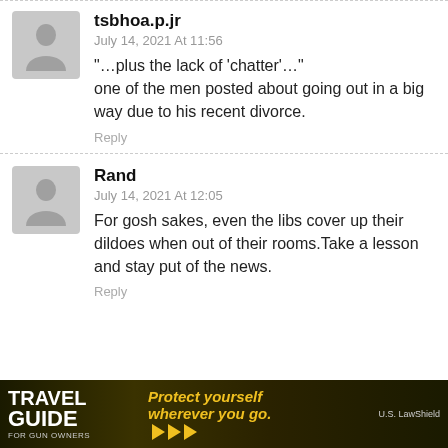tsbhoa.p.jr
July 14, 2021 At 11:56
“…plus the lack of ‘chatter’…” one of the men posted about going out in a big way due to his recent divorce.
Reply
Rand
July 14, 2021 At 12:05
For gosh sakes, even the libs cover up their dildoes when out of their rooms.Take a lesson and stay put of the news.
Reply
[Figure (infographic): Travel Guide for Gun Owners advertisement banner with text 'Protect yourself wherever you go.' and arrows]